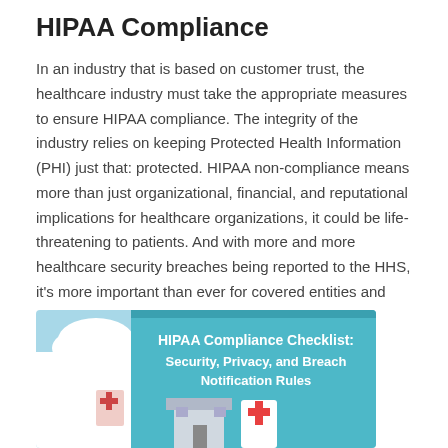HIPAA Compliance
In an industry that is based on customer trust, the healthcare industry must take the appropriate measures to ensure HIPAA compliance. The integrity of the industry relies on keeping Protected Health Information (PHI) just that: protected. HIPAA non-compliance means more than just organizational, financial, and reputational implications for healthcare organizations, it could be life-threatening to patients. And with more and more healthcare security breaches being reported to the HHS, it's more important than ever for covered entities and business associates to be HIPAA compliant.
[Figure (infographic): HIPAA Compliance Checklist infographic with teal background showing text: HIPAA Compliance Checklist: Security, Privacy, and Breach Notification Rules, with illustrated building and medical cross icon at bottom]